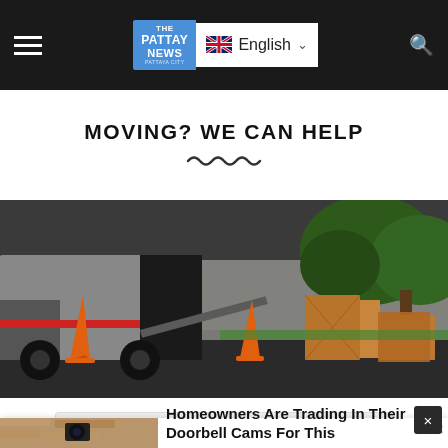The Pattay News — English navigation bar
MOVING? WE CAN HELP
[Figure (photo): Moving truck with open back and loading ramp, orange traffic cones, cardboard boxes on green lawn, trees in background]
[Figure (photo): Outdoor security camera / doorbell camera mounted on stone wall — advertisement image]
Homeowners Are Trading In Their Doorbell Cams For This
Camerca | Sponsored